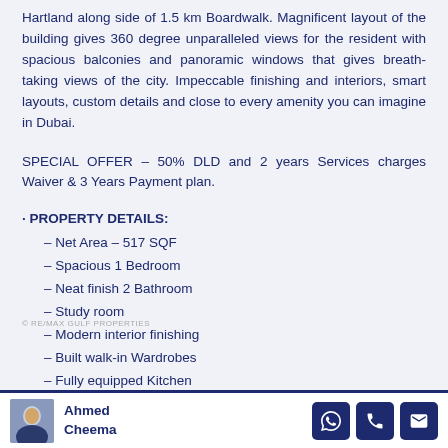Hartland along side of 1.5 km Boardwalk. Magnificent layout of the building gives 360 degree unparalleled views for the resident with spacious balconies and panoramic windows that gives breath-taking views of the city. Impeccable finishing and interiors, smart layouts, custom details and close to every amenity you can imagine in Dubai.
SPECIAL OFFER – 50% DLD and 2 years Services charges Waiver & 3 Years Payment plan.
· PROPERTY DETAILS:
– Net Area – 517 SQF
– Spacious 1 Bedroom
– Neat finish 2 Bathroom
– Study room
– Modern interior finishing
– Built walk-in Wardrobes
– Fully equipped Kitchen
– Covered Parking
Ahmed Cheema — contact icons: WhatsApp, Phone, Email